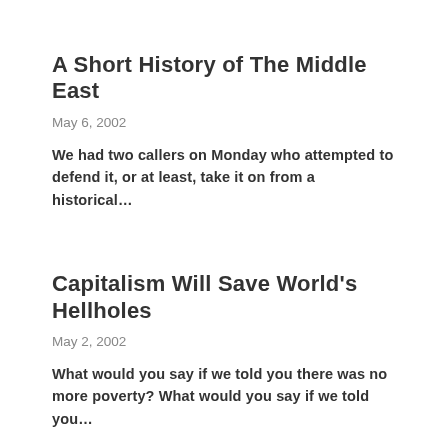A Short History of The Middle East
May 6, 2002
We had two callers on Monday who attempted to defend it, or at least, take it on from a historical…
Capitalism Will Save World's Hellholes
May 2, 2002
What would you say if we told you there was no more poverty? What would you say if we told you…